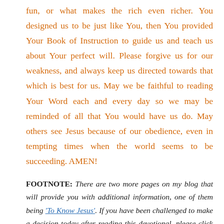fun, or what makes the rich even richer. You designed us to be just like You, then You provided Your Book of Instruction to guide us and teach us about Your perfect will. Please forgive us for our weakness, and always keep us directed towards that which is best for us. May we be faithful to reading Your Word each and every day so we may be reminded of all that You would have us do. May others see Jesus because of our obedience, even in tempting times when the world seems to be succeeding. AMEN!
FOOTNOTE: There are two more pages on my blog that will provide you with additional information, one of them being 'To Know Jesus'. If you have been challenged to make a decision today after reading this devotional, please click on the above page, or speak with a local Bible Teaching Pastor, or contact me